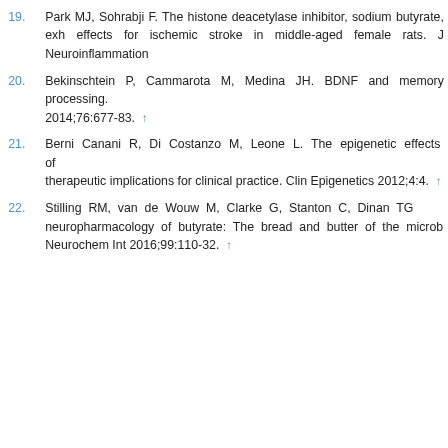19. Park MJ, Sohrabji F. The histone deacetylase inhibitor, sodium butyrate, exh... effects for ischemic stroke in middle-aged female rats. J Neuroinflammation...
20. Bekinschtein P, Cammarota M, Medina JH. BDNF and memory processing. ... 2014;76:677-83. ↑
21. Berni Canani R, Di Costanzo M, Leone L. The epigenetic effects of... therapeutic implications for clinical practice. Clin Epigenetics 2012;4:4. ↑
22. Stilling RM, van de Wouw M, Clarke G, Stanton C, Dinan TG... neuropharmacology of butyrate: The bread and butter of the microb... Neurochem Int 2016;99:110-32. ↑
This website uses cookies. By continuing to use this website you are giving consent to cookies being used. For information on cookies and how you can disable them visit our Privacy and Cookie Policy.
AGREE & PROCEED
factors and... es 2016;21.
MA, Kodde... mans. Clin N...
A, Navia-Pe... ites by a m... :hem 2016;3...
neuroepige... microbiome: Can a high fiber diet improve brain health? Neurosci Lett 2016;